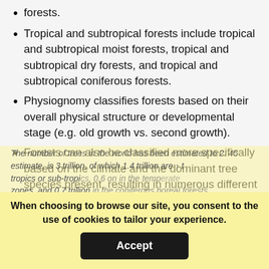forests.
Tropical and subtropical forests include tropical and subtropical moist forests, tropical and subtropical dry forests, and tropical and subtropical coniferous forests.
Physiognomy classifies forests based on their overall physical structure or developmental stage (e.g. old growth vs. second growth).
Forests can also be classified more specifically based on the climate and the dominant tree species present, resulting in numerous different forest types (e.g., Ponderosa pine/Douglas-fir forest).
The number of trees in the world has been estimated to 2. 45 estimate, is 3 trillion, of which 1.4 trillion are in the tropics or sub-tropics, 0.6 billion in the temperate zones, and 0.7 trillion in the coniferous boreal forests.
When choosing to browse our site, you consent to the use of cookies to tailor your experience.